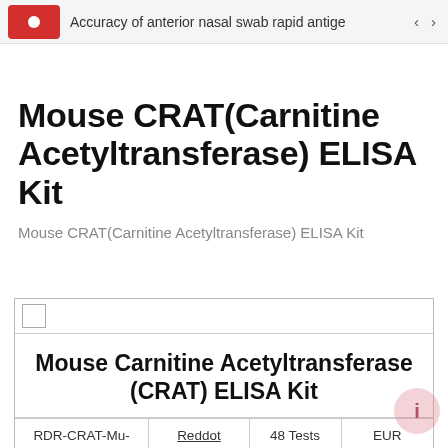Accuracy of anterior nasal swab rapid antigen
Mouse CRAT(Carnitine Acetyltransferase) ELISA Kit
Mouse CRAT(Carnitine Acetyltransferase) ELISA Kit
|  | Mouse Carnitine Acetyltransferase (CRAT) ELISA Kit |
| --- | --- |
| RDR-CRAT-Mu- | Reddot | 48 Tests | EUR |